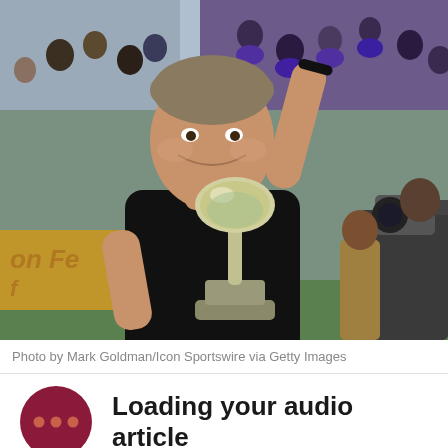[Figure (photo): A man in a black polo shirt smiling and waving to the crowd at a football stadium, holding a Vince Lombardi Super Bowl trophy. Crowd in the background wearing purple and other team colors. Camera operator visible on the right.]
Photo by Mark Goldman/Icon Sportswire via Getty Images
Loading your audio article